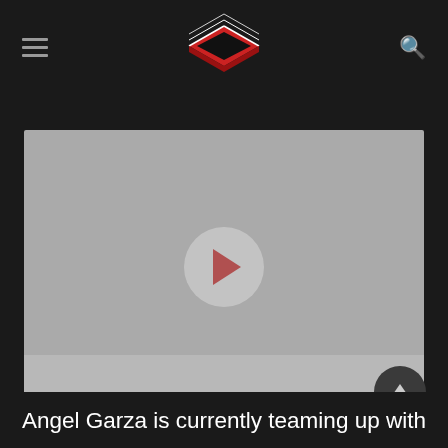Wrestling news website header with logo and navigation
[Figure (screenshot): Video player placeholder with grey background and a play button circle in the center]
Angel Garza is currently teaming up with